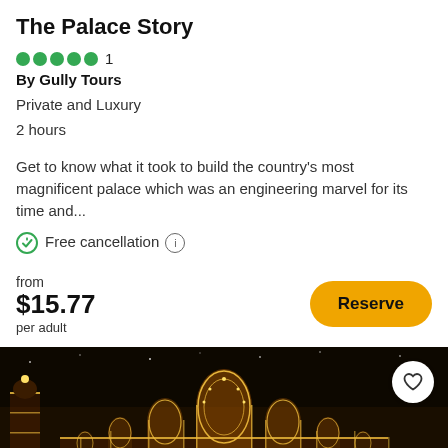The Palace Story
5 stars, 1 review. By Gully Tours
Private and Luxury
2 hours
Get to know what it took to build the country's most magnificent palace which was an engineering marvel for its time and...
Free cancellation
from $15.77 per adult
[Figure (photo): Mysore Palace illuminated at night with thousands of lights against a dark sky, ornate Indo-Saracenic architecture with multiple domes and towers]